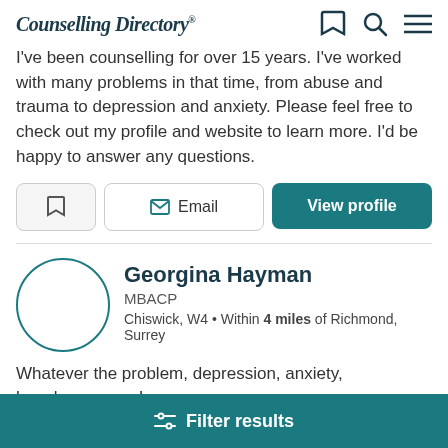Counselling Directory
I've been counselling for over 15 years. I've worked with many problems in that time, from abuse and trauma to depression and anxiety. Please feel free to check out my profile and website to learn more. I'd be happy to answer any questions.
[Figure (other): Action buttons row: bookmark icon button, Email button, View profile button]
[Figure (other): Counsellor profile card showing avatar circle, name Georgina Hayman, MBACP, location Chiswick W4 Within 4 miles of Richmond Surrey]
Whatever the problem, depression, anxiety, hopelessness... I
[Figure (other): Filter results button bar at bottom]